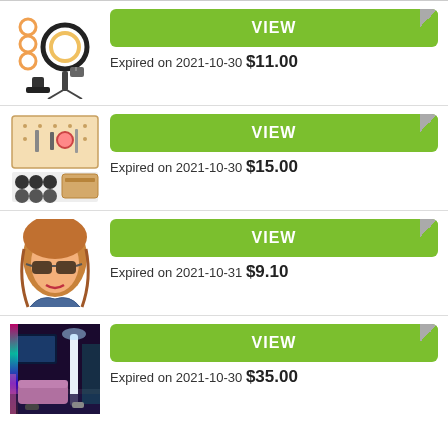[Figure (photo): Ring light kit with phone mount accessories]
VIEW
Expired on 2021-10-30 $11.00
[Figure (photo): Makeup organizer board with tools and accessories]
VIEW
Expired on 2021-10-30 $15.00
[Figure (photo): Woman wearing sunglasses]
VIEW
Expired on 2021-10-31 $9.10
[Figure (photo): RGB floor lamp in a room]
VIEW
Expired on 2021-10-30 $35.00